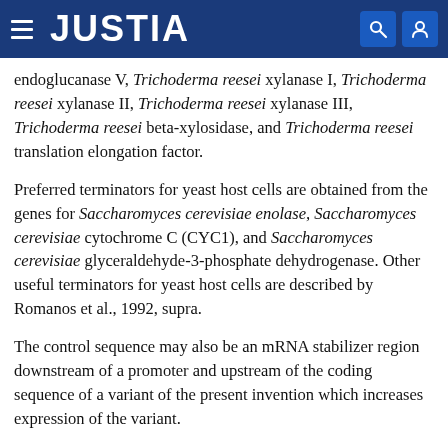JUSTIA
endoglucanase V, Trichoderma reesei xylanase I, Trichoderma reesei xylanase II, Trichoderma reesei xylanase III, Trichoderma reesei beta-xylosidase, and Trichoderma reesei translation elongation factor.
Preferred terminators for yeast host cells are obtained from the genes for Saccharomyces cerevisiae enolase, Saccharomyces cerevisiae cytochrome C (CYC1), and Saccharomyces cerevisiae glyceraldehyde-3-phosphate dehydrogenase. Other useful terminators for yeast host cells are described by Romanos et al., 1992, supra.
The control sequence may also be an mRNA stabilizer region downstream of a promoter and upstream of the coding sequence of a variant of the present invention which increases expression of the variant.
Examples of suitable mRNA stabilizer regions are